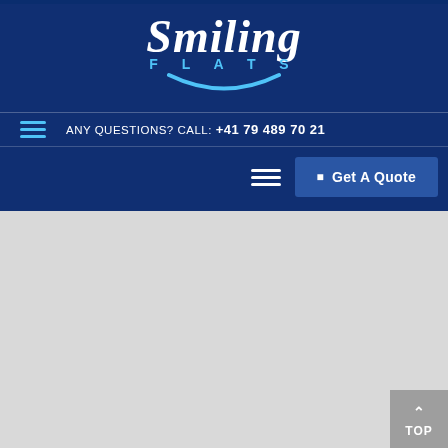[Figure (logo): Smiling Flats logo with italic white 'Smiling' text, blue 'FLATS' lettering and a blue arc/smile shape beneath]
ANY QUESTIONS? CALL: +41 79 489 70 21
Get A Quote